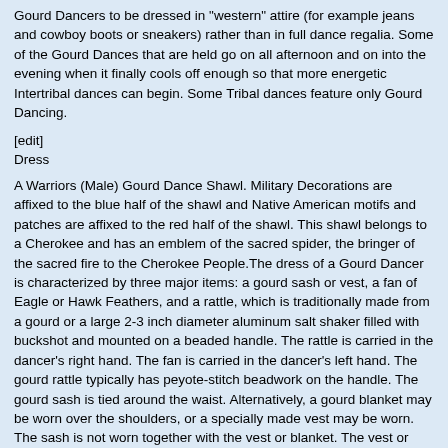Gourd Dancers to be dressed in "western" attire (for example jeans and cowboy boots or sneakers) rather than in full dance regalia. Some of the Gourd Dances that are held go on all afternoon and on into the evening when it finally cools off enough so that more energetic Intertribal dances can begin. Some Tribal dances feature only Gourd Dancing.
[edit]
Dress
A Warriors (Male) Gourd Dance Shawl. Military Decorations are affixed to the blue half of the shawl and Native American motifs and patches are affixed to the red half of the shawl. This shawl belongs to a Cherokee and has an emblem of the sacred spider, the bringer of the sacred fire to the Cherokee People.The dress of a Gourd Dancer is characterized by three major items: a gourd sash or vest, a fan of Eagle or Hawk Feathers, and a rattle, which is traditionally made from a gourd or a large 2-3 inch diameter aluminum salt shaker filled with buckshot and mounted on a beaded handle. The rattle is carried in the dancer's right hand. The fan is carried in the dancer's left hand. The gourd rattle typically has peyote-stitch beadwork on the handle. The gourd sash is tied around the waist. Alternatively, a gourd blanket may be worn over the shoulders, or a specially made vest may be worn. The sash is not worn together with the vest or blanket. The vest or blanket has two colors: red and blue, with one color being worn over each shoulder. Sometimes the vest or blanket will feature a design or emblem, usually in the center where the two colors meet. This may be a simple set of red-white and blue stripes, or the decorations may depict items related to the dance, such as an image of a beaded rattle. They may also have a personal or religious meaning to the dancer